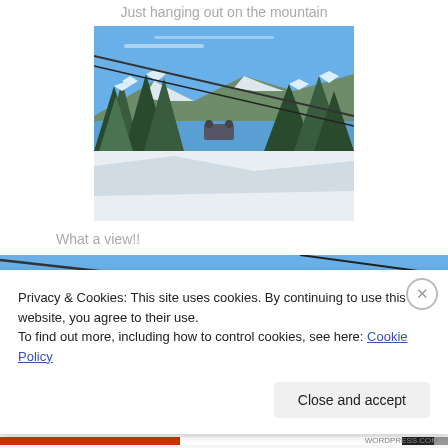Just hanging out on the mountain
[Figure (photo): View from a ski lift looking down a snowy mountain slope with snow-covered pine trees on both sides and ski lift cables visible overhead. Blue sky with light clouds.]
What a view!!
[Figure (photo): Partial view from ski lift showing blue sky and lift cables, partially obscured by cookie consent banner.]
Privacy & Cookies: This site uses cookies. By continuing to use this website, you agree to their use.
To find out more, including how to control cookies, see here: Cookie Policy
Close and accept